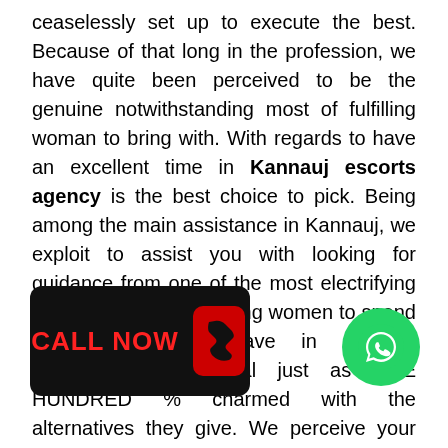ceaselessly set up to execute the best. Because of that long in the profession, we have quite been perceived to be the genuine notwithstanding most of fulfilling woman to bring with. With regards to have an excellent time in Kannauj escorts agency is the best choice to pick. Being among the main assistance in Kannauj, we exploit to assist you with looking for guidance from one of the most electrifying and furthermore engaging women to spend time with. They have in actuality ceaselessly been real just as ONE HUNDRED % charmed with the alternatives they give. We perceive your interest and furthermore we set sure to fulfill every one of your expectations. Since our beginning, we have in certainty been working in hundreds and clients from all through the duty. Our clients have very whatever point they require the arrangements of Escorts. This portrays a ten
[Figure (other): Black rounded rectangle button with red CALL NOW text and red phone handset icon]
[Figure (other): Green circular WhatsApp bubble with white phone handset icon]